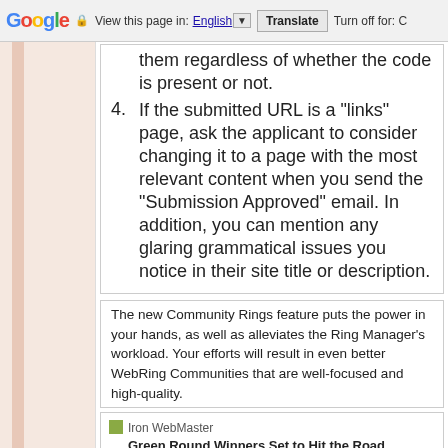Google | View this page in: English ▼ | Translate | Turn off for: C
them regardless of whether the code is present or not.
4. If the submitted URL is a "links" page, ask the applicant to consider changing it to a page with the most relevant content when you send the "Submission Approved" email. In addition, you can mention any glaring grammatical issues you notice in their site title or description.
The new Community Rings feature puts the power in your hands, as well as alleviates the Ring Manager's workload. Your efforts will result in even better WebRing Communities that are well-focused and high-quality.
Iron WebMaster
Green Round Winners Set to Hit the Road